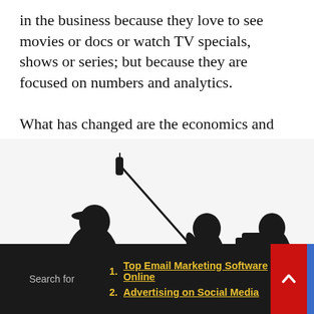in the business because they love to see movies or docs or watch TV specials, shows or series; but because they are focused on numbers and analytics.

What has changed are the economics and ease in creating great content and the distribution options.
[Figure (illustration): Silhouette of three people on a film/video set: a person gesturing (talent/director), a person holding a boom microphone on a long pole, and a person operating a video camera on a tripod.]
1. Top Email Marketing Software Online
2. Advertising on Social Media